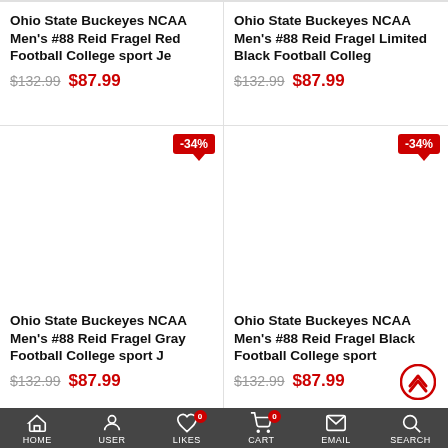Ohio State Buckeyes NCAA Men's #88 Reid Fragel Red Football College sport Je
$132.99  $87.99
Ohio State Buckeyes NCAA Men's #88 Reid Fragel Limited Black Football Colleg
$132.99  $87.99
[Figure (other): Product image area for Ohio State Buckeyes NCAA Men's #88 Reid Fragel Gray Football College sport J with -34% discount badge]
Ohio State Buckeyes NCAA Men's #88 Reid Fragel Gray Football College sport J
$132.99  $87.99
[Figure (other): Product image area for Ohio State Buckeyes NCAA Men's #88 Reid Fragel Black Football College sport with -34% discount badge]
Ohio State Buckeyes NCAA Men's #88 Reid Fragel Black Football College sport
$132.99  $87.99
HOME  USER  LIKES  CART  EMAIL  SEARCH